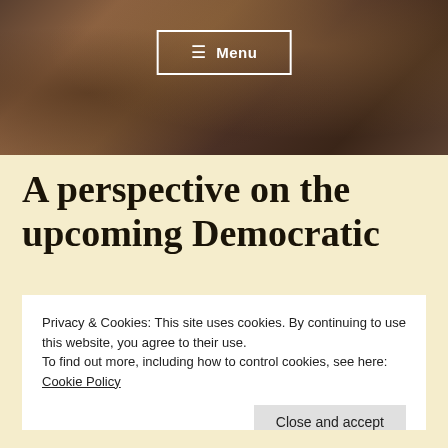[Figure (photo): Hero image with dark warm-toned water/abstract background with a Menu button overlay]
≡ Menu
A perspective on the upcoming Democratic
Privacy & Cookies: This site uses cookies. By continuing to use this website, you agree to their use.
To find out more, including how to control cookies, see here: Cookie Policy
Close and accept